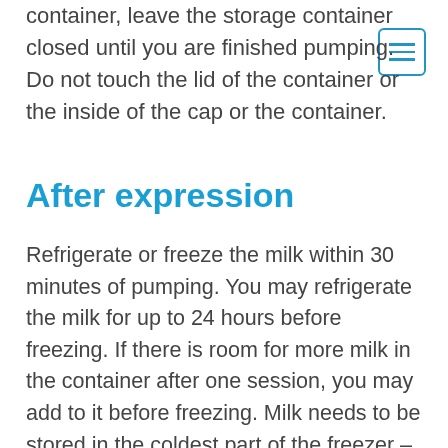container, leave the storage container closed until you are finished pumping. Do not touch the lid of the container or the inside of the cap or the container.
After expression
Refrigerate or freeze the milk within 30 minutes of pumping. You may refrigerate the milk for up to 24 hours before freezing. If there is room for more milk in the container after one session, you may add to it before freezing. Milk needs to be stored in the coldest part of the freezer – usually at the back, or ideally, in a